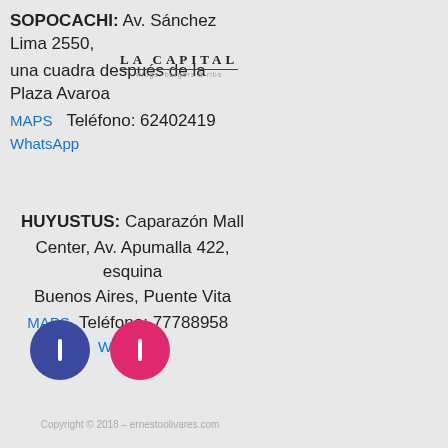SOPOCACHI: Av. Sánchez Lima 2550, una cuadra después de la Plaza Avaroa
MAPS  Teléfono: 62402419  WhatsApp
[Figure (logo): LA CAPITAL logo with subtitle 'wings, burgers & ribs']
HUYUSTUS: Caparazón Mall Center, Av. Apumalla 422, esquina Buenos Aires, Puente Vita
MAPS  Teléfono: 77788958  WhatsApp
[Figure (illustration): Two circular social media icons: blue Facebook and pink Instagram]
Copyright © 2018 – ernestoolivares.com